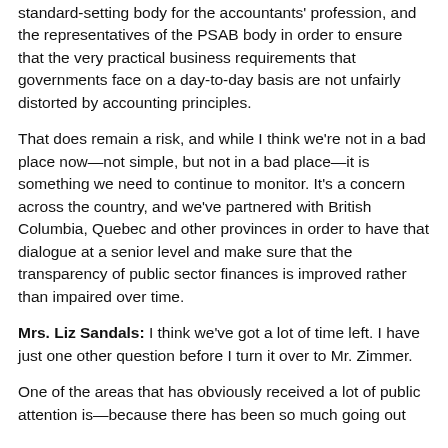Canadian Institute of Chartered Accountants, the overall standard-setting body for the accountants' profession, and the representatives of the PSAB body in order to ensure that the very practical business requirements that governments face on a day-to-day basis are not unfairly distorted by accounting principles.
That does remain a risk, and while I think we're not in a bad place now—not simple, but not in a bad place—it is something we need to continue to monitor. It's a concern across the country, and we've partnered with British Columbia, Quebec and other provinces in order to have that dialogue at a senior level and make sure that the transparency of public sector finances is improved rather than impaired over time.
Mrs. Liz Sandals: I think we've got a lot of time left. I have just one other question before I turn it over to Mr. Zimmer.
One of the areas that has obviously received a lot of public attention is—because there has been so much going out